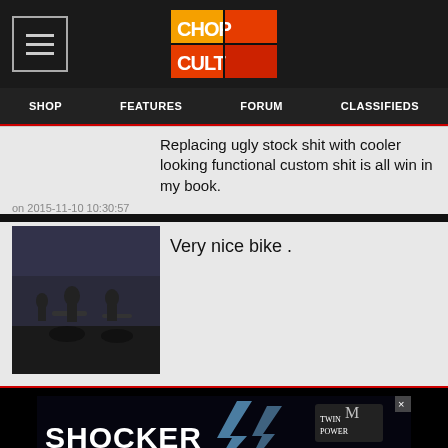SHOP  FEATURES  FORUM  CLASSIFIEDS
Replacing ugly stock shit with cooler looking functional custom shit is all win in my book.
on 2015-11-10 10:30:57
[Figure (photo): Small thumbnail photo showing people with motorcycles]
Very nice bike .
[Figure (other): Shocker AGM Battery advertisement banner with lightning bolt imagery and Twin Power logo and Find Your Shop button]
VIEW DESKTOP VERSION
©2009 - 2017 Chopcult